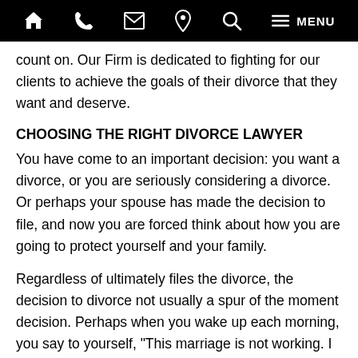🏠 📞 ✉ 📍 🔍 ☰ MENU
count on. Our Firm is dedicated to fighting for our clients to achieve the goals of their divorce that they want and deserve.
CHOOSING THE RIGHT DIVORCE LAWYER
You have come to an important decision: you want a divorce, or you are seriously considering a divorce. Or perhaps your spouse has made the decision to file, and now you are forced think about how you are going to protect yourself and your family.
Regardless of ultimately files the divorce, the decision to divorce not usually a spur of the moment decision. Perhaps when you wake up each morning, you say to yourself, "This marriage is not working. I need to start a brand-new life." Or possibly your spouse has made